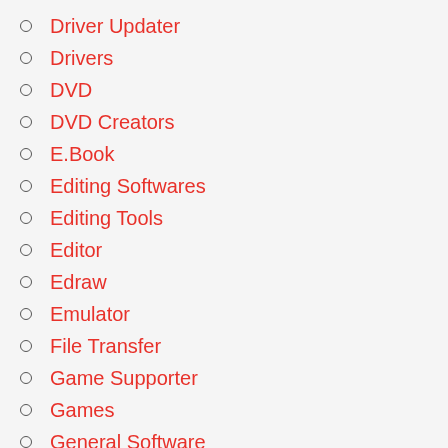Driver Updater
Drivers
DVD
DVD Creators
E.Book
Editing Softwares
Editing Tools
Editor
Edraw
Emulator
File Transfer
Game Supporter
Games
General Software
Graphic Capture